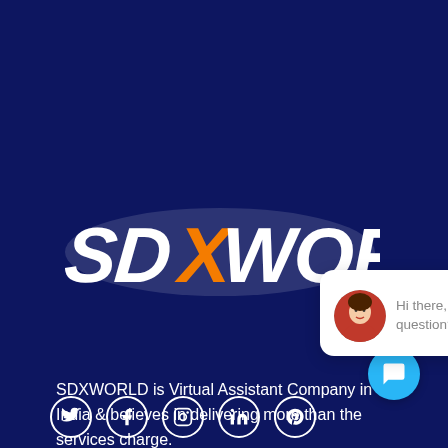[Figure (logo): SDXWORLD logo in white brush-stroke lettering with an orange X, on dark navy background]
[Figure (screenshot): Chat popup widget showing a female avatar and text: Hi there, have a question? Text us here. With a close button and a blue chat bubble button.]
SDXWORLD is Virtual Assistant Company in India & believes in delivering more than the services charge.
[Figure (infographic): Social media icons row: Twitter, Facebook, Instagram, LinkedIn, Pinterest]